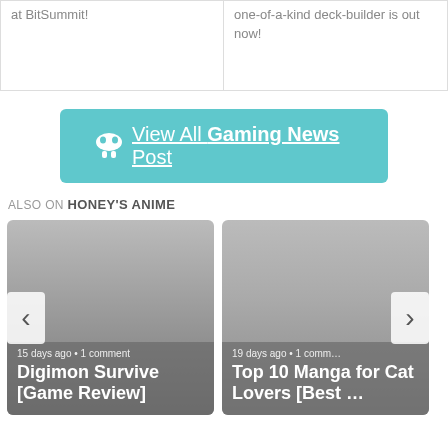at BitSummit!
one-of-a-kind deck-builder is out now!
View All Gaming News Post
ALSO ON HONEY'S ANIME
15 days ago • 1 comment
Digimon Survive [Game Review]
19 days ago • 1 comm…
Top 10 Manga for Cat Lovers [Best …